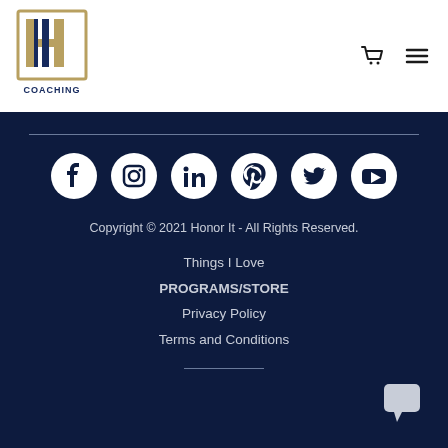Honor It Coaching — logo and navigation
[Figure (logo): Honor It Coaching logo: stylized HH letters with COACHING text below, gold and navy colors]
[Figure (infographic): Shopping cart icon and hamburger menu icon in top right navigation]
[Figure (infographic): Row of six social media icons: Facebook, Instagram, LinkedIn, Pinterest, Twitter, YouTube — white icons on dark navy background]
Copyright © 2021 Honor It - All Rights Reserved.
Things I Love
PROGRAMS/STORE
Privacy Policy
Terms and Conditions
[Figure (infographic): Chat bubble / message icon in bottom right corner]